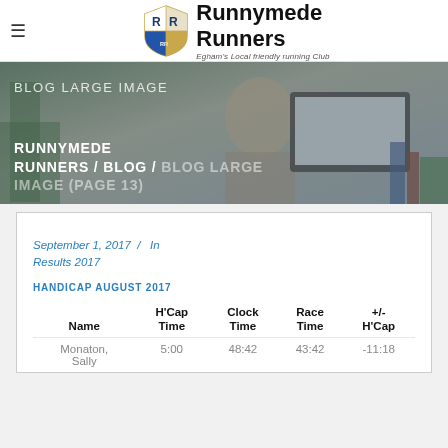Runnymede Runners — Egham's Local friendly running Club
[Figure (photo): Hero banner image showing a person working on a laptop, overlaid with text 'BLOG LARGE IMAGE' and breadcrumb navigation 'RUNNYMEDE RUNNERS / BLOG / BLOG LARGE IMAGE (PAGE 13)']
September 1, 2017 / In Results 2017
HANDICAP AUGUST 2017
| Name | H'Cap
Time | Clock
Time | Race
Time | +/-
H'Cap |
| --- | --- | --- | --- | --- |
| Monaton,
Sally | 5:00 | 48:42 | 43:42 | -11:18 |